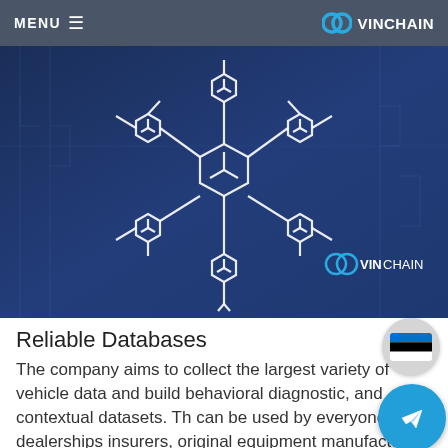MENU  ≡    VINCHAIN
[Figure (illustration): Blockchain network diagram with hexagonal nodes connected by lines, white outline style on dark blue background, with VINCHAIN watermark logo at bottom right]
Reliable Databases
The company aims to collect the largest variety of vehicle data and build behavioral diagnostic, and contextual datasets. Th can be used by everyone from dealerships insurers, original equipment manufacturers